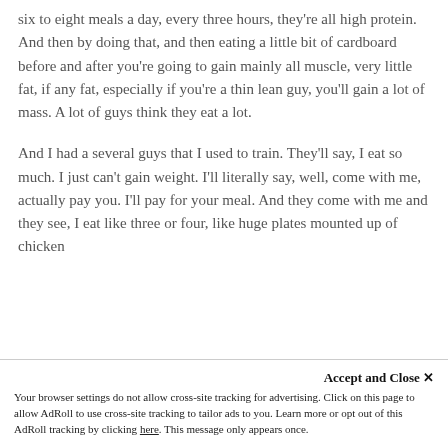six to eight meals a day, every three hours, they're all high protein. And then by doing that, and then eating a little bit of cardboard before and after you're going to gain mainly all muscle, very little fat, if any fat, especially if you're a thin lean guy, you'll gain a lot of mass. A lot of guys think they eat a lot.
And I had a several guys that I used to train. They'll say, I eat so much. I just can't gain weight. I'll literally say, well, come with me, actually pay you. I'll pay for your meal. And they come with me and they see, I eat like three or four, like huge plates mounted up of chicken and green beans, and all this, when they...
Accept and Close ✕ Your browser settings do not allow cross-site tracking for advertising. Click on this page to allow AdRoll to use cross-site tracking to tailor ads to you. Learn more or opt out of this AdRoll tracking by clicking here. This message only appears once.